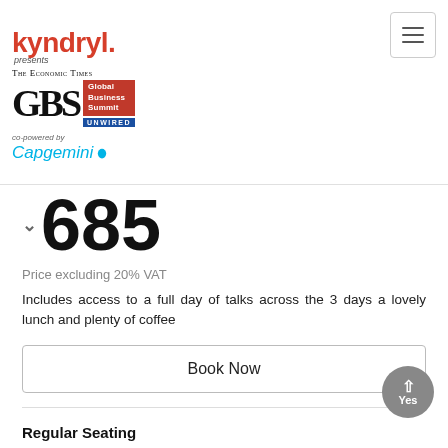[Figure (logo): Kyndryl presents The Economic Times GBS Global Business Summit UNWIRED co-powered by Capgemini logo]
685
Price excluding 20% VAT
Includes access to a full day of talks across the 3 days a lovely lunch and plenty of coffee
Book Now
Regular Seating
Yes